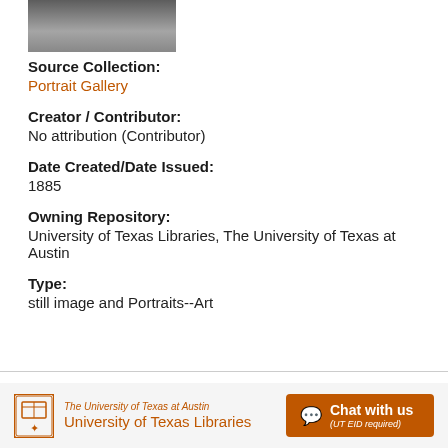[Figure (photo): Partial portrait photo at top, black and white, cropped]
Source Collection:
Portrait Gallery
Creator / Contributor:
No attribution (Contributor)
Date Created/Date Issued:
1885
Owning Repository:
University of Texas Libraries, The University of Texas at Austin
Type:
still image and Portraits--Art
The University of Texas at Austin University of Texas Libraries  Chat with us (UT EID required)